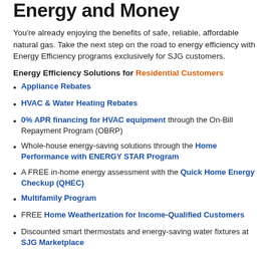Energy and Money
You're already enjoying the benefits of safe, reliable, affordable natural gas. Take the next step on the road to energy efficiency with Energy Efficiency programs exclusively for SJG customers.
Energy Efficiency Solutions for Residential Customers
Appliance Rebates
HVAC & Water Heating Rebates
0% APR financing for HVAC equipment through the On-Bill Repayment Program (OBRP)
Whole-house energy-saving solutions through the Home Performance with ENERGY STAR Program
A FREE in-home energy assessment with the Quick Home Energy Checkup (QHEC)
Multifamily Program
FREE Home Weatherization for Income-Qualified Customers
Discounted smart thermostats and energy-saving water fixtures at SJG Marketplace